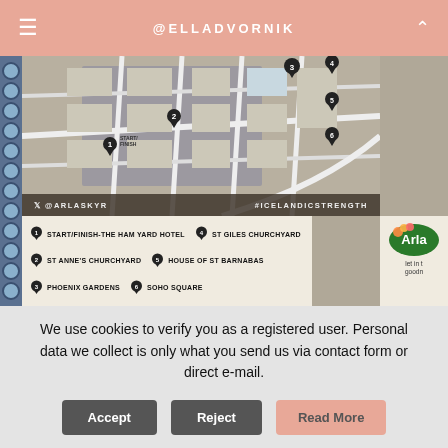@ELLADVORNIK
[Figure (map): A photographed notebook page showing a walking route map of Soho, London, with numbered pins marking: 1 START/FINISH-THE HAM YARD HOTEL, 2 ST ANNE'S CHURCHYARD, 3 PHOENIX GARDENS, 4 ST GILES CHURCHYARD, 5 HOUSE OF ST BARNABAS, 6 SOHO SQUARE. Social handles @ARLASKYR and #ICELANDICSTRENGTH are shown. An Arla logo is partially visible on the right side.]
We use cookies to verify you as a registered user. Personal data we collect is only what you send us via contact form or direct e-mail.